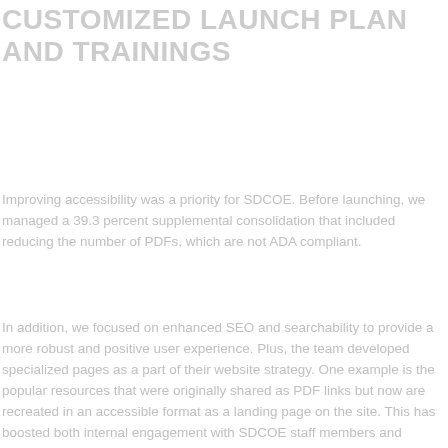CUSTOMIZED LAUNCH PLAN AND TRAININGS
Improving accessibility was a priority for SDCOE. Before launching, we managed a 39.3 percent supplemental consolidation that included reducing the number of PDFs, which are not ADA compliant.
In addition, we focused on enhanced SEO and searchability to provide a more robust and positive user experience. Plus, the team developed specialized pages as a part of their website strategy. One example is the popular resources that were originally shared as PDF links but now are recreated in an accessible format as a landing page on the site. This has boosted both internal engagement with SDCOE staff members and external engagement with employees from